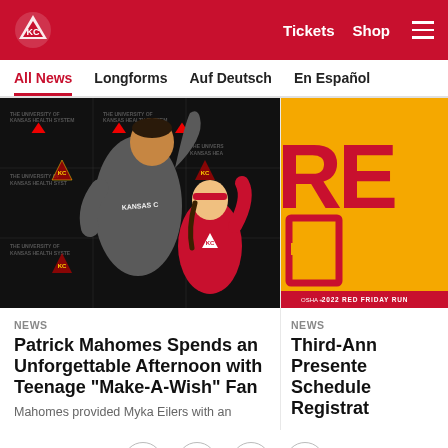Kansas City Chiefs — Tickets  Shop  [menu]
All News  Longforms  Auf Deutsch  En Español
[Figure (photo): Patrick Mahomes flexing arm muscles with a young teenage girl in a Kansas City Chiefs jersey, both smiling, in front of a backdrop with The University of Kansas Health System logos and KC Chiefs logos.]
NEWS
Patrick Mahomes Spends an Unforgettable Afternoon with Teenage "Make-A-Wish" Fan
Mahomes provided Myka Eilers with an
[Figure (photo): Partial view of a red and yellow promotional graphic reading 'RE' and 'F' on an orange/yellow background, with a red bottom banner reading '2022 RED FRIDAY RUN'.]
NEWS
Third-Ann Presente Schedule Registrat